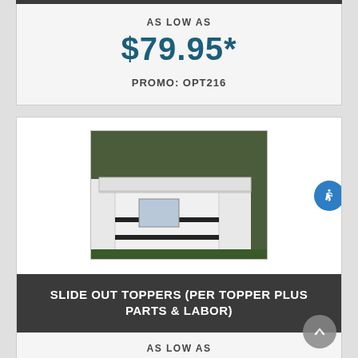AS LOW AS
$79.95*
PROMO: OPT216
[Figure (photo): Photo of an RV slide-out topper awning extended over the slide-out section of a white camper trailer, with green grass in the background.]
SLIDE OUT TOPPERS (PER TOPPER PLUS PARTS & LABOR)
AS LOW AS
$550*